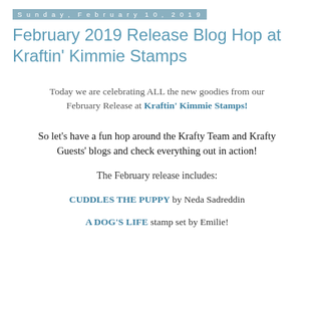Sunday, February 10, 2019
February 2019 Release Blog Hop at Kraftin' Kimmie Stamps
Today we are celebrating ALL the new goodies from our February Release at Kraftin' Kimmie Stamps!
So let's have a fun hop around the Krafty Team and Krafty Guests' blogs and check everything out in action!
The February release includes:
CUDDLES THE PUPPY by Neda Sadreddin
A DOG'S LIFE stamp set by Emilie!